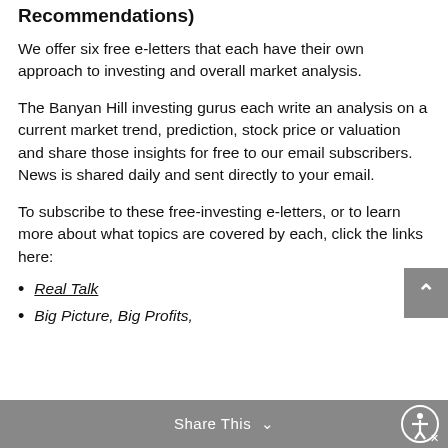Recommendations)
We offer six free e-letters that each have their own approach to investing and overall market analysis.
The Banyan Hill investing gurus each write an analysis on a current market trend, prediction, stock price or valuation and share those insights for free to our email subscribers. News is shared daily and sent directly to your email.
To subscribe to these free-investing e-letters, or to learn more about what topics are covered by each, click the links here:
Real Talk
Big Picture, Big Profits,
Share This